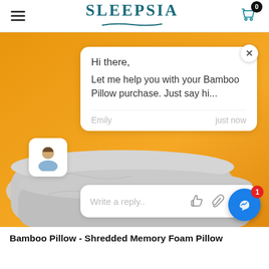SLEEPSIA
[Figure (screenshot): Sleepsia website screenshot showing a chat popup over an orange background with bamboo pillows. Chat message from Emily reads: Hi there, Let me help you with your Bamboo Pillow purchase. Just say hi... A reply input box and messenger button with badge showing 1 are visible.]
Bamboo Pillow - Shredded Memory Foam Pillow